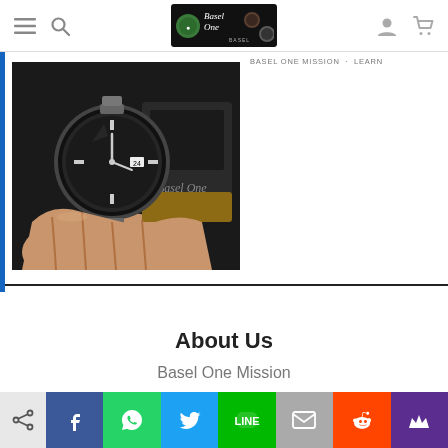Navigation bar with hamburger menu, search icon, logo, user icon, cart icon
[Figure (photo): Hand holding a Rolex stainless steel watch with dark dial, with a Basel One branded watch box in the background]
BASEL ONE MISSION OR SIMILAR PARTIAL TEXT
About Us
Basel One Mission
[Figure (infographic): Social sharing bar at bottom with share, Facebook, WhatsApp, Twitter, LINE, mail, Reddit, and crown/bookmark icons]